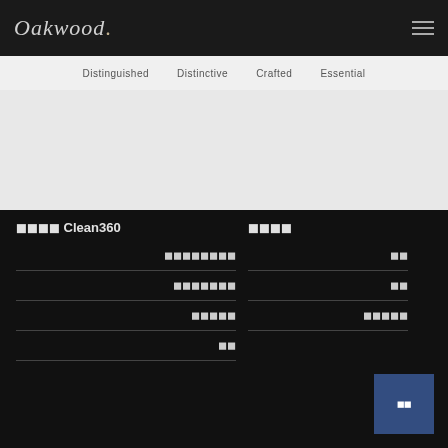[Figure (logo): Oakwood logo in italic serif font on dark background]
Distinguished   Distinctive   Crafted   Essential
奥克伍德 Clean360
清洁消毒服务
深度清洁
表面消毒
空气
联系我们
客房
设施
更多信息
查看